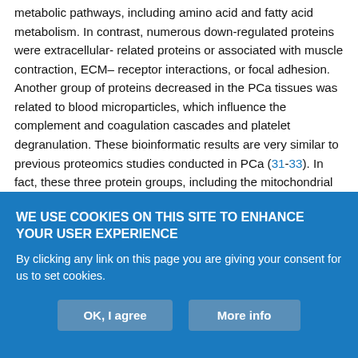metabolic pathways, including amino acid and fatty acid metabolism. In contrast, numerous down-regulated proteins were extracellular-related proteins or associated with muscle contraction, ECM–receptor interactions, or focal adhesion. Another group of proteins decreased in the PCa tissues was related to blood microparticles, which influence the complement and coagulation cascades and platelet degranulation. These bioinformatic results are very similar to previous proteomics studies conducted in PCa (31-33). In fact, these three protein groups, including the mitochondrial proteins, extracellular-related proteins, and blood microparticle proteins, are known to be highly related to the occurrence of cancer.
WE USE COOKIES ON THIS SITE TO ENHANCE YOUR USER EXPERIENCE
By clicking any link on this page you are giving your consent for us to set cookies.